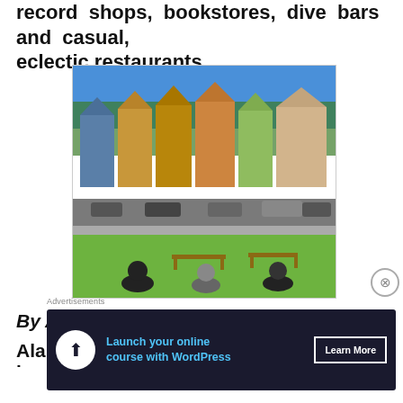record shops, bookstores, dive bars and casual, eclectic restaurants.
[Figure (photo): People sitting on grass at Alamo Square park in San Francisco, with the famous Painted Ladies Victorian houses visible across the street under a blue sky.]
By Alamo Square
Alamo Square in San Francisco is a beautiful...
Advertisements
Launch your online course with WordPress
Learn More